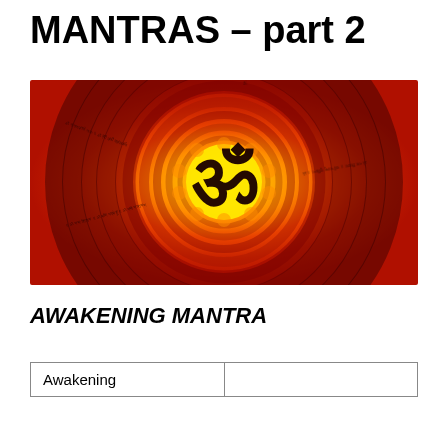MANTRAS – part 2
[Figure (illustration): Circular mandala with Om (ॐ) symbol in the center on a golden-yellow background, surrounded by concentric rings of Sanskrit text in red and orange tones.]
AWAKENING MANTRA
| Awakening |  |
| --- | --- |
| Awakening |  |